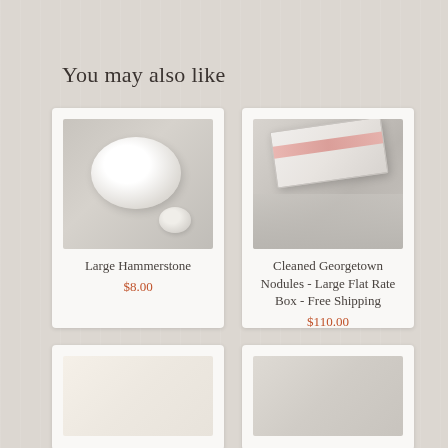You may also like
[Figure (photo): Product card showing a large white oval hammerstone with a smaller white stone pebble on a beige background]
Large Hammerstone
$8.00
[Figure (photo): Product card showing a USPS flat rate box with white stones/nodules surrounding it]
Cleaned Georgetown Nodules - Large Flat Rate Box - Free Shipping
$110.00
[Figure (photo): Partial product card at bottom left, cropped]
[Figure (photo): Partial product card at bottom right, cropped]